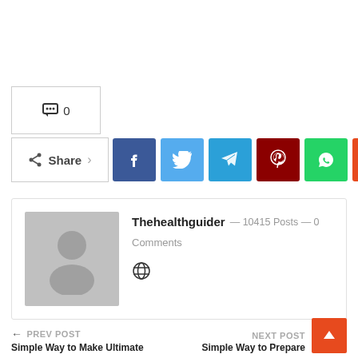💬 0
Share (Facebook, Twitter, Telegram, Pinterest, WhatsApp, Reddit)
Thehealthguider — 10415 Posts — 0 Comments
PREV POST — Simple Way to Make Ultimate
NEXT POST — Simple Way to Prepare